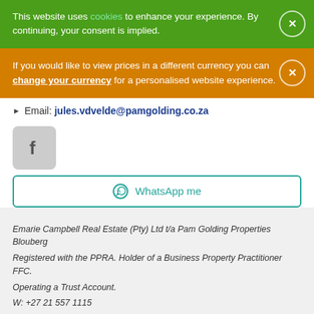This website uses cookies to enhance your experience. By continuing, your consent is implied.
If you would like to view prices in a different currency you can change your currency for a personalised website experience.
Email: jules.vdvelde@pamgolding.co.za
[Figure (screenshot): Facebook icon button (grey rounded square with white 'f' logo)]
WhatsApp me
Emarie Campbell Real Estate (Pty) Ltd t/a Pam Golding Properties Blouberg
Registered with the PPRA. Holder of a Business Property Practitioner FFC.
Operating a Trust Account.
W: +27 21 557 1115
E: blouberg@pamgolding.co.za
A Franchise of Pam Golding Franchise Services (Pty) Ltd.
MY ON SHOW LISTINGS